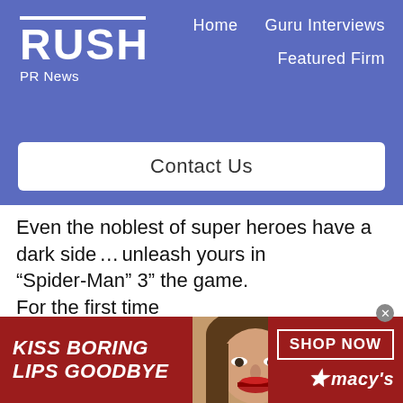[Figure (logo): RUSH PR News logo with white horizontal line above bold white RUSH text and PR News subtitle on blue background]
Home   Guru Interviews   Featured Firm
Contact Us
Even the noblest of super heroes have a dark side…unleash yours in “Spider-Man 3” the game. For the first time ever, players get to experience the actions of both the heroic red-suited Spider-Man and his darker, more
[Figure (photo): Macy's advertisement banner: KISS BORING LIPS GOODBYE text on dark red background with woman's face showing red lips, SHOP NOW button and Macy's star logo]